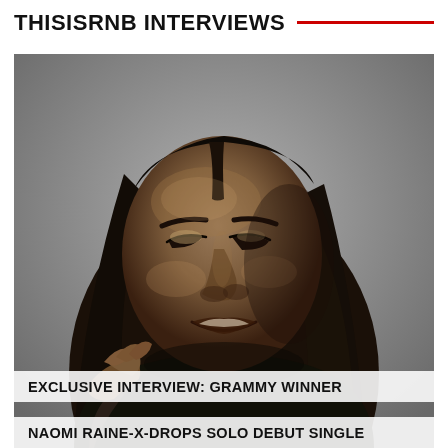THISISRNB INTERVIEWS
[Figure (photo): Black and white portrait photo of a woman with long straight hair, eyes closed, smiling with head tilted slightly back, hand resting on her shoulder. Subject appears to be Grammy winner Naomi Raine.]
EXCLUSIVE INTERVIEW: GRAMMY WINNER
NAOMI RAINE-X-DROPS SOLO DEBUT SINGLE